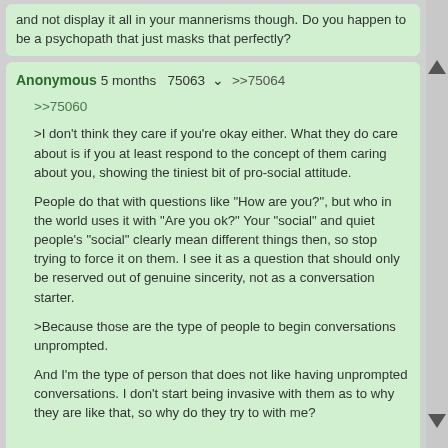and not display it all in your mannerisms though. Do you happen to be a psychopath that just masks that perfectly?
Anonymous 5 months 75063 >>75064

>>75060

>I don't think they care if you're okay either. What they do care about is if you at least respond to the concept of them caring about you, showing the tiniest bit of pro-social attitude.

People do that with questions like "How are you?", but who in the world uses it with "Are you ok?" Your "social" and quiet people's "social" clearly mean different things then, so stop trying to force it on them. I see it as a question that should only be reserved out of genuine sincerity, not as a conversation starter.

>Because those are the type of people to begin conversations unprompted.

And I'm the type of person that does not like having unprompted conversations. I don't start being invasive with them as to why they are like that, so why do they try to with me?

>This is everywhere and is a common pattern, not just special to the Southern US.

Not really. In the country I'm originally from and in most of